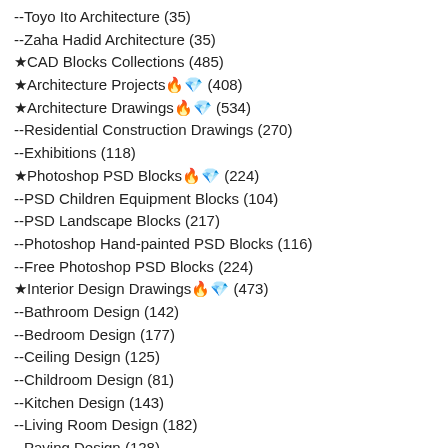--Toyo Ito Architecture (35)
--Zaha Hadid Architecture (35)
★CAD Blocks Collections (485)
★Architecture Projects🔥💎 (408)
★Architecture Drawings🔥💎 (534)
--Residential Construction Drawings (270)
--Exhibitions (118)
★Photoshop PSD Blocks🔥💎 (224)
--PSD Children Equipment Blocks (104)
--PSD Landscape Blocks (217)
--Photoshop Hand-painted PSD Blocks (116)
--Free Photoshop PSD Blocks (224)
★Interior Design Drawings🔥💎 (473)
--Bathroom Design (142)
--Bedroom Design (177)
--Ceiling Design (125)
--Childroom Design (81)
--Kitchen Design (143)
--Living Room Design (182)
--Paving Design (128)